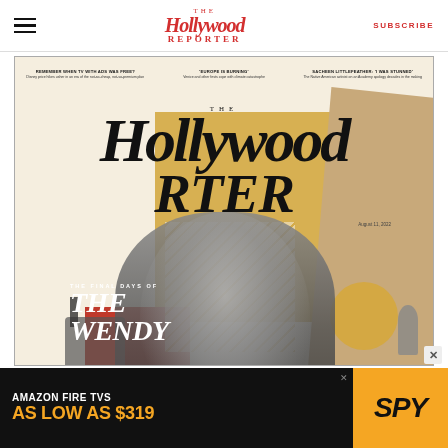The Hollywood Reporter — SUBSCRIBE
[Figure (illustration): The Hollywood Reporter magazine cover featuring a woman (Wendy Williams) in black and white photo, with geometric shapes in gold, red, and tan colors. The cover logo reads 'The Hollywood / REPORTER'. Teasers at top: 'REMEMBER WHEN TV WITH ADS WAS FREE?', "'EUROPE IS BURNING'", "SACHEEN LITTLEFEATHER: 'I WAS STUNNED'". Bottom text: 'THE FINAL DAYS OF THE WENDY'. Date: August 11, 2022.]
THE FINAL DAYS OF THE WENDY
[Figure (infographic): Amazon Fire TVs advertisement banner: 'AMAZON FIRE TVS AS LOW AS $319' with SPY logo on yellow background]